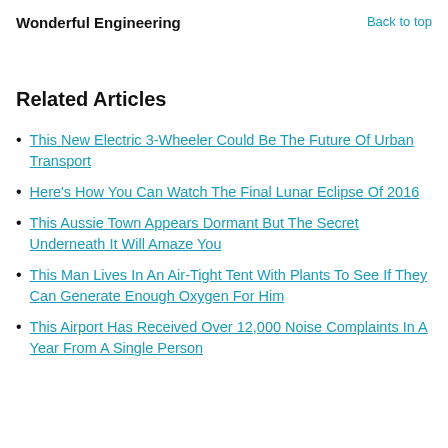Wonderful Engineering
Back to top
Related Articles
This New Electric 3-Wheeler Could Be The Future Of Urban Transport
Here's How You Can Watch The Final Lunar Eclipse Of 2016
This Aussie Town Appears Dormant But The Secret Underneath It Will Amaze You
This Man Lives In An Air-Tight Tent With Plants To See If They Can Generate Enough Oxygen For Him
This Airport Has Received Over 12,000 Noise Complaints In A Year From A Single Person